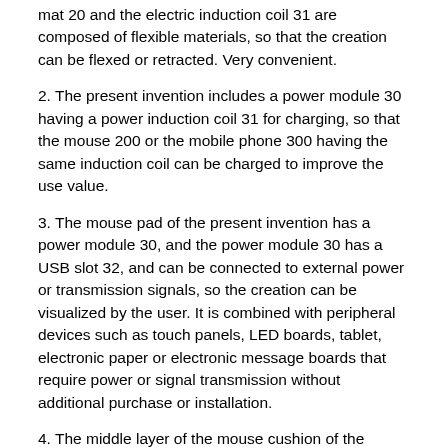1. The upper and lower cushions 10 and 10, the foaming mat 20 and the electric induction coil 31 are composed of flexible materials, so that the creation can be flexed or retracted. Very convenient.
2. The present invention includes a power module 30 having a power induction coil 31 for charging, so that the mouse 200 or the mobile phone 300 having the same induction coil can be charged to improve the use value.
3. The mouse pad of the present invention has a power module 30, and the power module 30 has a USB slot 32, and can be connected to external power or transmission signals, so the creation can be visualized by the user. It is combined with peripheral devices such as touch panels, LED boards, tablet, electronic paper or electronic message boards that require power or signal transmission without additional purchase or installation.
4. The middle layer of the mouse cushion of the present invention is composed of a foaming pad 20, so that the power module 30 or various peripheral devices to be combined can be embedded in the foaming pad 20, that is, as long as The foaming pad 20 is cut to produce a proper